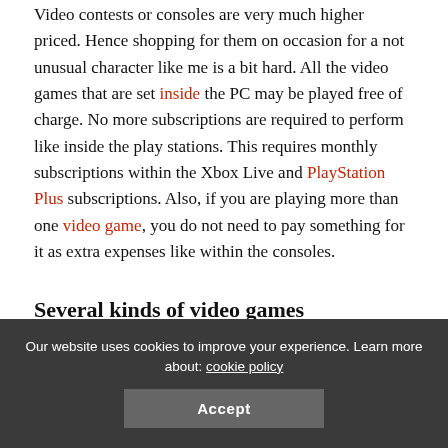Video contests or consoles are very much higher priced. Hence shopping for them on occasion for a not unusual character like me is a bit hard. All the video games that are set inside the PC may be played free of charge. No more subscriptions are required to perform like inside the play stations. This requires monthly subscriptions within the Xbox Live and PlayStation Plus subscriptions. Also, if you are playing more than one video game, you do not need to pay something for it as extra expenses like within the consoles.
Several kinds of video games
Pc assists a lot more of contests than the consoles. By this, you could be sure that you'll now not be missing out on any of the games. A 1/3 celebration sports publisher does no longer need to
Our website uses cookies to improve your experience. Learn more about: cookie policy